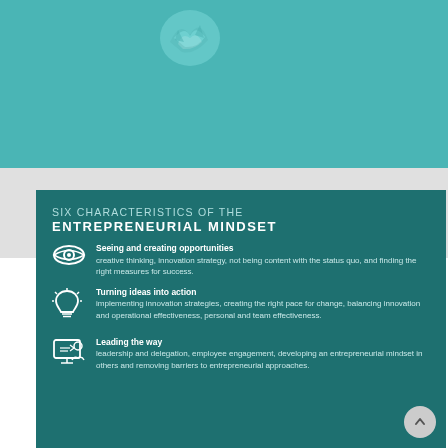[Figure (photo): Teal/turquoise background with crumpled paper ball illustration at top]
SIX CHARACTERISTICS OF THE ENTREPRENEURIAL MINDSET
Seeing and creating opportunities — creative thinking, innovation strategy, not being content with the status quo, and finding the right measures for success.
Turning ideas into action — implementing innovation strategies, creating the right pace for change, balancing innovation and operational effectiveness, personal and team effectiveness.
Leading the way — leadership and delegation, employee engagement, developing an entrepreneurial mindset in others and removing barriers to entrepreneurial approaches.